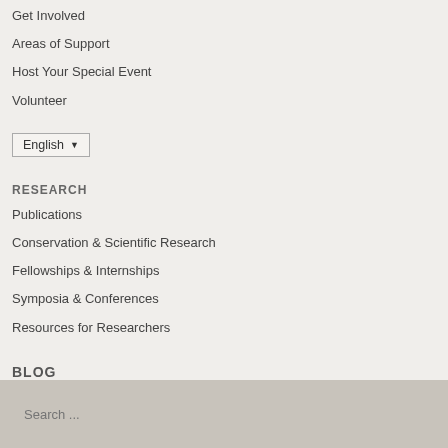Get Involved
Areas of Support
Host Your Special Event
Volunteer
English ▼
RESEARCH
Publications
Conservation & Scientific Research
Fellowships & Internships
Symposia & Conferences
Resources for Researchers
BLOG
Search ...